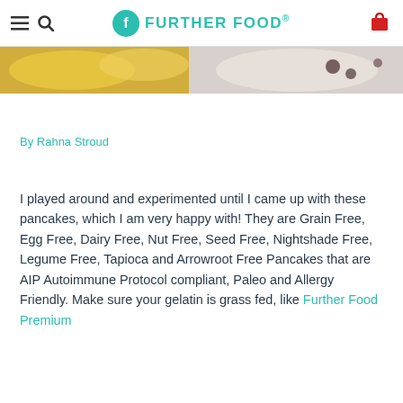Further Food®
[Figure (photo): Partial view of food photograph showing yellow/golden items on the left side and white plate with dark items on the right side, cropped at top.]
By Rahna Stroud
I played around and experimented until I came up with these pancakes, which I am very happy with! They are Grain Free, Egg Free, Dairy Free, Nut Free, Seed Free, Nightshade Free, Legume Free, Tapioca and Arrowroot Free Pancakes that are AIP Autoimmune Protocol compliant, Paleo and Allergy Friendly. Make sure your gelatin is grass fed, like Further Food Premium